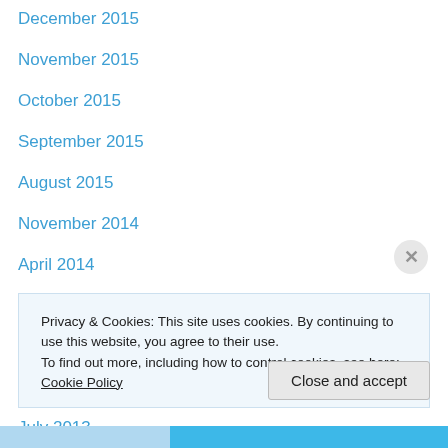December 2015
November 2015
October 2015
September 2015
August 2015
November 2014
April 2014
December 2013
November 2013
September 2013
July 2013
January 2013
December 2012
November 2012
Privacy & Cookies: This site uses cookies. By continuing to use this website, you agree to their use.
To find out more, including how to control cookies, see here: Cookie Policy
Close and accept